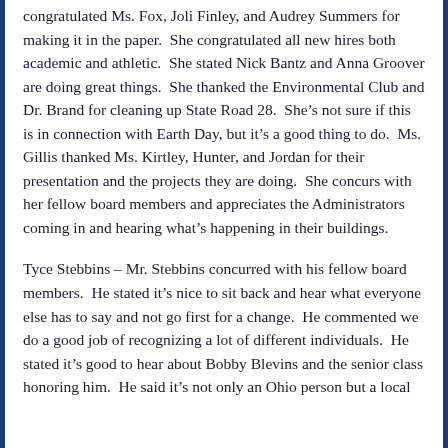congratulated Ms. Fox, Joli Finley, and Audrey Summers for making it in the paper.  She congratulated all new hires both academic and athletic.  She stated Nick Bantz and Anna Groover are doing great things.  She thanked the Environmental Club and Dr. Brand for cleaning up State Road 28.  She’s not sure if this is in connection with Earth Day, but it’s a good thing to do.  Ms. Gillis thanked Ms. Kirtley, Hunter, and Jordan for their presentation and the projects they are doing.  She concurs with her fellow board members and appreciates the Administrators coming in and hearing what’s happening in their buildings.
Tyce Stebbins – Mr. Stebbins concurred with his fellow board members.  He stated it’s nice to sit back and hear what everyone else has to say and not go first for a change.  He commented we do a good job of recognizing a lot of different individuals.  He stated it’s good to hear about Bobby Blevins and the senior class honoring him.  He said it’s not only an Ohio person but a local...